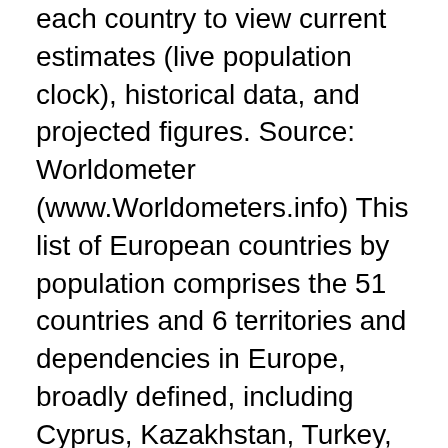each country to view current estimates (live population clock), historical data, and projected figures. Source: Worldometer (www.Worldometers.info) This list of European countries by population comprises the 51 countries and 6 territories and dependencies in Europe, broadly defined, including Cyprus, Kazakhstan, Turkey, and the countries of the Caucasus. The most populous country in Europe is Russia. This is a list of European Union member states by population, which is sorted by the 2020 population figure as provided by Eurostat. Table. Rank Country There are a total of 44 countries in Europe.
Coronavirus. COVID-19. EU/EEA. Public health threat.
Finsk lapphund vit